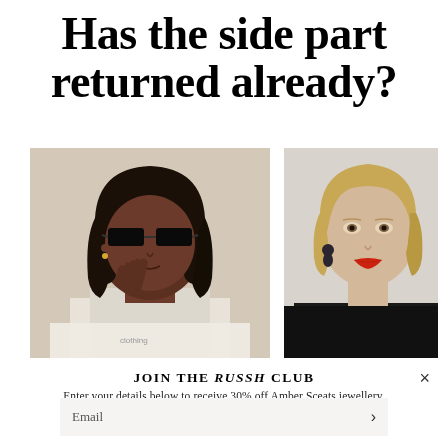Has the side part returned already?
[Figure (photo): Two fashion/editorial photos side by side: left shows a dark-skinned woman with a side-part bob wearing black sunglasses and gold earrings; right shows a blonde woman with a side part wearing statement earrings and red lipstick.]
JOIN THE RUSSH CLUB
Enter your details below to receive 30% off Amber Sceats jewellery.
Email